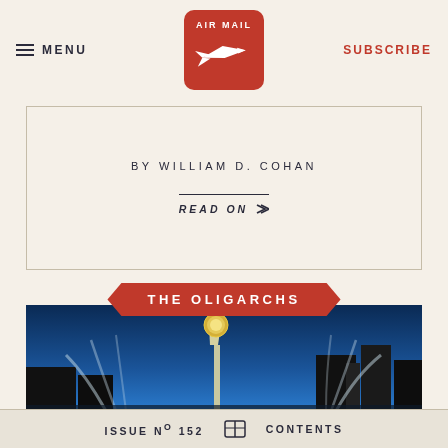MENU | AIR MAIL | SUBSCRIBE
BY WILLIAM D. COHAN
READ ON
THE OLIGARCHS
[Figure (photo): Photo of a tall illuminated tower (Bayterek Tower in Astana/Nur-Sultan, Kazakhstan) with fountains and city skyline against a blue sky]
ISSUE No 152  CONTENTS